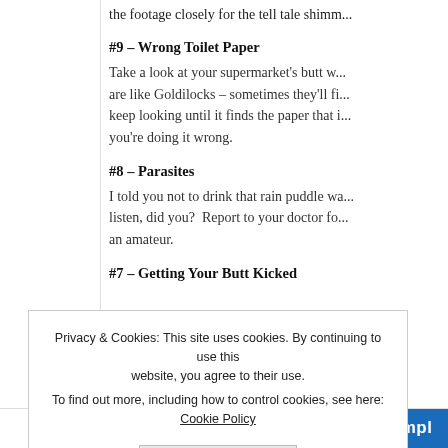the footage closely for the tell tale shimm...
#9 – Wrong Toilet Paper
Take a look at your supermarket's butt w... are like Goldilocks – sometimes they'll fi... keep looking until it finds the paper that i... you're doing it wrong.
#8 – Parasites
I told you not to drink that rain puddle wa... listen, did you?  Report to your doctor fo... an amateur.
#7 – Getting Your Butt Kicked
Privacy & Cookies: This site uses cookies. By continuing to use this website, you agree to their use. To find out more, including how to control cookies, see here: Cookie Policy
Close and accept